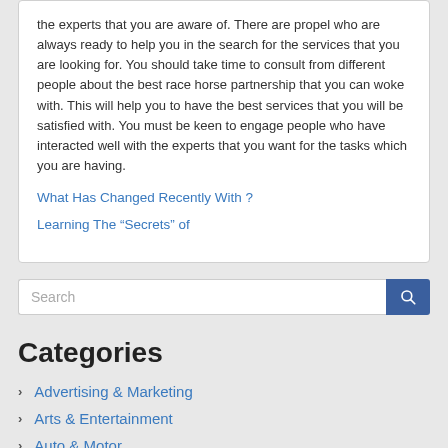the experts that you are aware of. There are propel who are always ready to help you in the search for the services that you are looking for. You should take time to consult from different people about the best race horse partnership that you can woke with. This will help you to have the best services that you will be satisfied with. You must be keen to engage people who have interacted well with the experts that you want for the tasks which you are having.
What Has Changed Recently With ?
Learning The “Secrets” of
Search
Categories
Advertising & Marketing
Arts & Entertainment
Auto & Motor
Business Products & Services